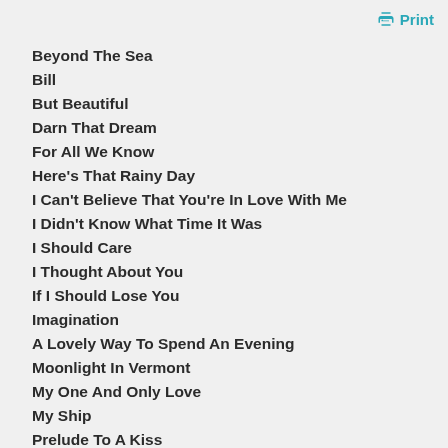Print
Beyond The Sea
Bill
But Beautiful
Darn That Dream
For All We Know
Here's That Rainy Day
I Can't Believe That You're In Love With Me
I Didn't Know What Time It Was
I Should Care
I Thought About You
If I Should Lose You
Imagination
A Lovely Way To Spend An Evening
Moonlight In Vermont
My One And Only Love
My Ship
Prelude To A Kiss
Taking A Chance On Love
Tenderly